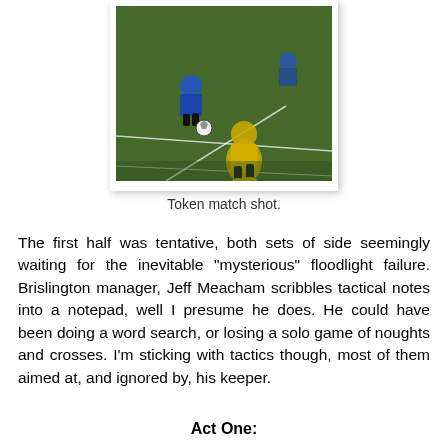[Figure (photo): Football match action shot showing players in blue and yellow kits on a grass pitch with a ball in play]
Token match shot.
The first half was tentative, both sets of side seemingly waiting for the inevitable "mysterious" floodlight failure. Brislington manager, Jeff Meacham scribbles tactical notes into a notepad, well I presume he does. He could have been doing a word search, or losing a solo game of noughts and crosses. I'm sticking with tactics though, most of them aimed at, and ignored by, his keeper.
Act One: